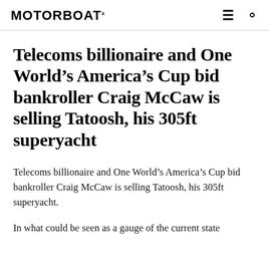MOTOR BOAT
Telecoms billionaire and One World’s America’s Cup bid bankroller Craig McCaw is selling Tatoosh, his 305ft superyacht
Telecoms billionaire and One World’s America’s Cup bid bankroller Craig McCaw is selling Tatoosh, his 305ft superyacht.
In what could be seen as a gauge of the current state